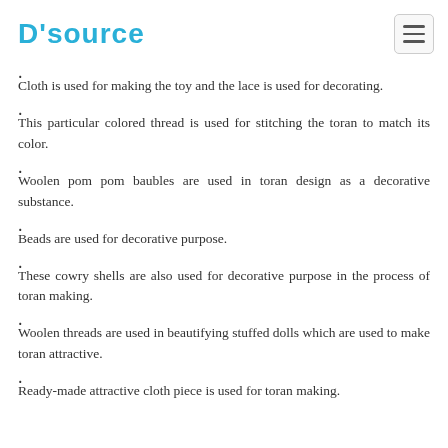D'source
Cotton and threads are stuffed inside the stitched cloth to make the toys.
Cloth is used for making the toy and the lace is used for decorating.
This particular colored thread is used for stitching the toran to match its color.
Woolen pom pom baubles are used in toran design as a decorative substance.
Beads are used for decorative purpose.
These cowry shells are also used for decorative purpose in the process of toran making.
Woolen threads are used in beautifying stuffed dolls which are used to make toran attractive.
Ready-made attractive cloth piece is used for toran making.